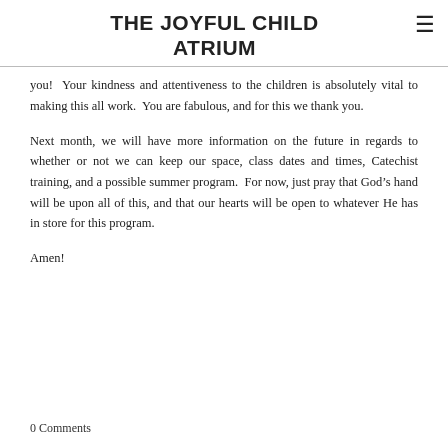THE JOYFUL CHILD ATRIUM
you!  Your kindness and attentiveness to the children is absolutely vital to making this all work.  You are fabulous, and for this we thank you.
Next month, we will have more information on the future in regards to whether or not we can keep our space, class dates and times, Catechist training, and a possible summer program.  For now, just pray that God’s hand will be upon all of this, and that our hearts will be open to whatever He has in store for this program.
Amen!
0 Comments